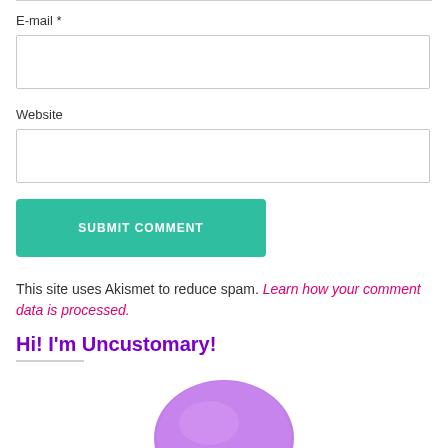E-mail *
Website
SUBMIT COMMENT
This site uses Akismet to reduce spam. Learn how your comment data is processed.
Hi! I'm Uncustomary!
[Figure (photo): Partial photo of a person wearing a purple fuzzy hat, cropped at the bottom of the page]